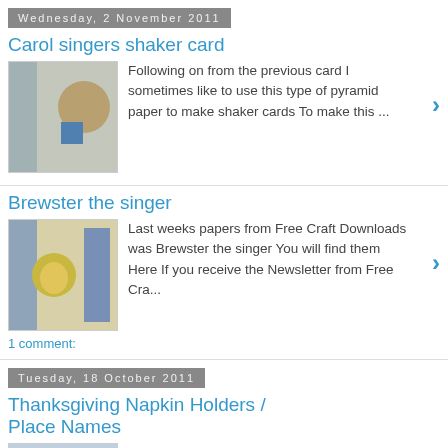Wednesday, 2 November 2011
Carol singers shaker card
[Figure (photo): Thumbnail image of carol singers shaker card]
Following on from the previous card  I sometimes like to use this type of pyramid paper to make shaker cards   To make this ...
Brewster the singer
[Figure (photo): Thumbnail image of Brewster the singer card]
Last weeks papers from  Free Craft Downloads was Brewster the singer You will find them Here  If you receive the Newsletter from Free Cra...
1 comment:
Tuesday, 18 October 2011
Thanksgiving Napkin Holders / Place Names
[Figure (photo): Thumbnail image of Thanksgiving Napkin Holders]
This week on Free Craft Downloads   there are some new thanksgiving papers for you...